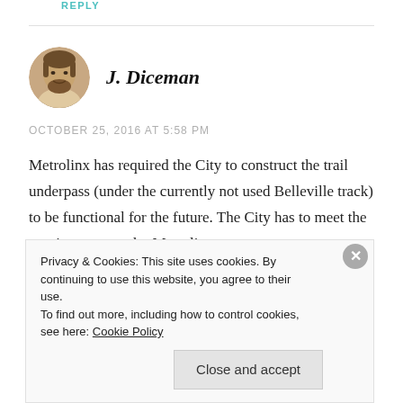REPLY
[Figure (photo): Circular avatar photo of a bearded man smiling, used as a commenter profile picture]
J. Diceman
OCTOBER 25, 2016 AT 5:58 PM
Metrolinx has required the City to construct the trail underpass (under the currently not used Belleville track) to be functional for the future. The City has to meet the requirements set by Metrolinx
Privacy & Cookies: This site uses cookies. By continuing to use this website, you agree to their use.
To find out more, including how to control cookies, see here: Cookie Policy
Close and accept